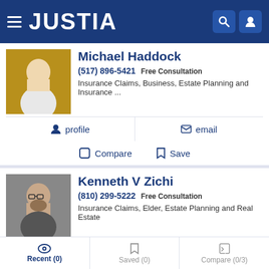JUSTIA
Michael Haddock
(517) 896-5421 Free Consultation
Insurance Claims, Business, Estate Planning and Insurance ...
profile | email
Compare | Save
Kenneth V Zichi
(810) 299-5222 Free Consultation
Insurance Claims, Elder, Estate Planning and Real Estate
website | profile | email
Recent (0) | Saved (0) | Compare (0/3)